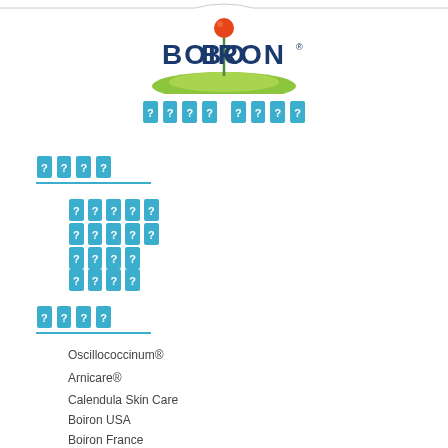[Figure (logo): Boiron logo with red ball on green grass and blue text]
[redacted tagline]
[redacted section header 1]
[redacted item 1]
[redacted item 2]
[redacted item 3]
[redacted item 4]
[redacted section header 2]
Oscillococcinum®
Arnicare®
Calendula Skin Care
Boiron USA
Boiron France